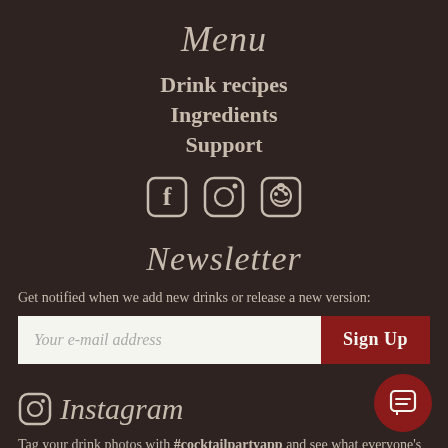Menu
Drink recipes
Ingredients
Support
[Figure (illustration): Three social media icons: Facebook, Instagram, Reddit]
Newsletter
Get notified when we add new drinks or release a new version:
[Figure (screenshot): Email input field with placeholder 'Your e-mail address' and a dark red 'Sign Up' button]
[Figure (logo): Instagram icon with italic script 'Instagram' text beside it]
Tag your drink photos with #cocktailpartyapp and see what everyone's been making!